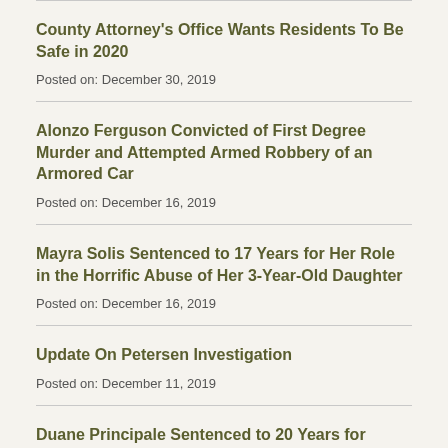County Attorney's Office Wants Residents To Be Safe in 2020
Posted on: December 30, 2019
Alonzo Ferguson Convicted of First Degree Murder and Attempted Armed Robbery of an Armored Car
Posted on: December 16, 2019
Mayra Solis Sentenced to 17 Years for Her Role in the Horrific Abuse of Her 3-Year-Old Daughter
Posted on: December 16, 2019
Update On Petersen Investigation
Posted on: December 11, 2019
Duane Principale Sentenced to 20 Years for Manslaughter
Posted on: December 11, 2019
County Attorney Outlines Investigation Process...